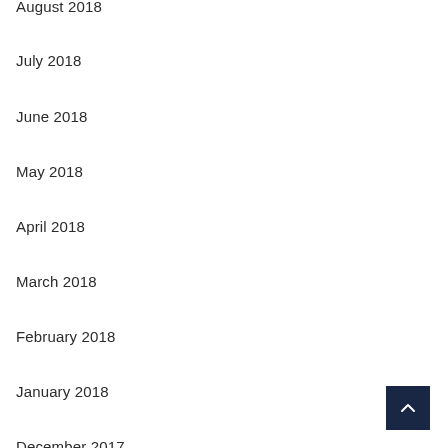August 2018
July 2018
June 2018
May 2018
April 2018
March 2018
February 2018
January 2018
December 2017
November 2017
October 2017
September 2017
August 2017